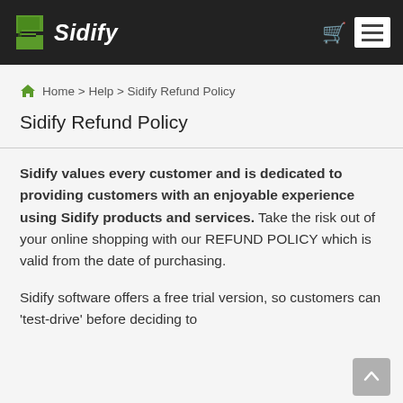Sidify
Home > Help > Sidify Refund Policy
Sidify Refund Policy
Sidify values every customer and is dedicated to providing customers with an enjoyable experience using Sidify products and services. Take the risk out of your online shopping with our REFUND POLICY which is valid from the date of purchasing.
Sidify software offers a free trial version, so customers can 'test-drive' before deciding to